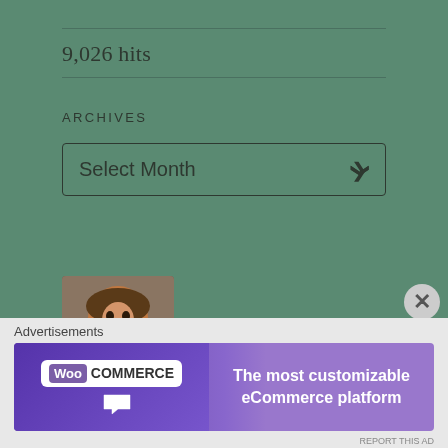9,026 hits
ARCHIVES
Select Month
[Figure (photo): Author photo of H. Lamar Thomas — a smiling man]
H. Lamar Thomas
Advertisements
[Figure (infographic): WooCommerce advertisement banner: 'The most customizable eCommerce platform']